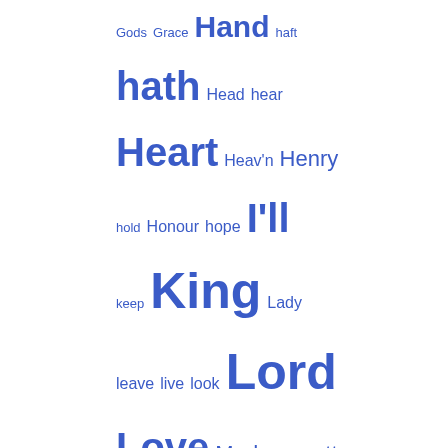[Figure (infographic): A word cloud showing high-frequency words in varying font sizes in blue, including: Gods, Grace, Hand, haft, hath, Head, hear, Heart, Heav'n, Henry, hold, Honour, hope, I'll, keep, King, Lady, leave, live, look, Lord, Love, Madam, matter, mean, morrow, moft, Mother, muft, Name, never, Night, Noble, once, Peace, poor, Power, pray, Prince, Queen, Rich, Richard, Rome, fay, SCENE, fee, felf, fhall, fhe, fhould, fome, Sons, Soul, fpeak, ftand, fuch, fweet, Sword, Tears, tell]